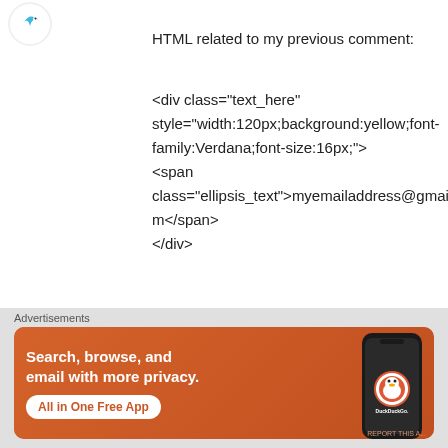[Figure (illustration): Small circular avatar icon with blue bird/duck symbol on white background]
HTML related to my previous comment:
<div class="text_here" style="width:120px;background:yellow;font-family:Verdana;font-size:16px;"><span class="ellipsis_text">myemailaddress@gmail.com</span></div>
★ Like
Advertisements
[Figure (screenshot): DuckDuckGo advertisement banner: orange background with text 'Search, browse, and email with more privacy. All in One Free App' and a phone mockup with DuckDuckGo logo]
[Figure (illustration): Close/dismiss button circle with X symbol]